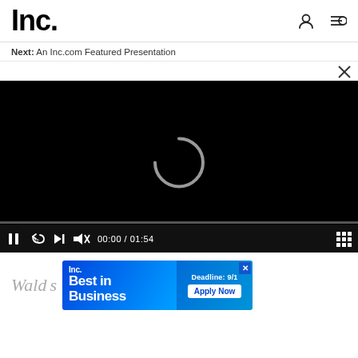[Figure (logo): Inc. logo in bold black text]
Next: An Inc.com Featured Presentation
[Figure (screenshot): Video player with black background, loading spinner, progress bar, and playback controls showing 00:00 / 01:54]
[Figure (infographic): Inc. Best in Business advertisement banner with Apply Now button and Deadline: 9/1 label]